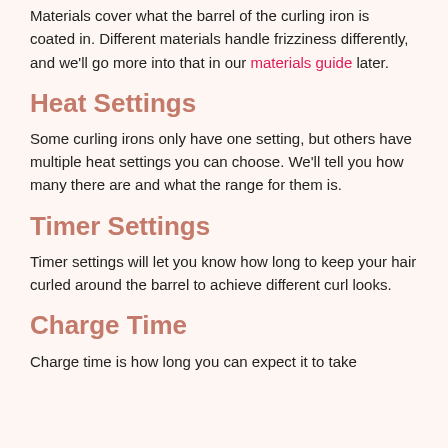Materials cover what the barrel of the curling iron is coated in. Different materials handle frizziness differently, and we'll go more into that in our materials guide later.
Heat Settings
Some curling irons only have one setting, but others have multiple heat settings you can choose. We'll tell you how many there are and what the range for them is.
Timer Settings
Timer settings will let you know how long to keep your hair curled around the barrel to achieve different curl looks.
Charge Time
Charge time is how long you can expect it to take